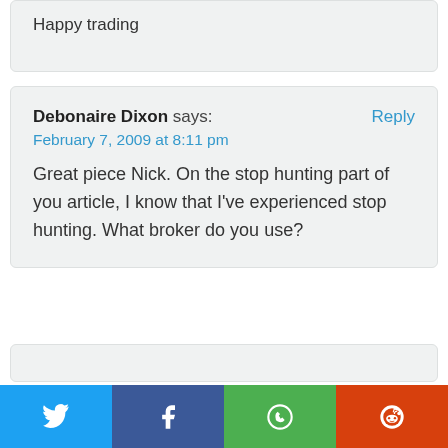Happy trading
Debonaire Dixon says:
February 7, 2009 at 8:11 pm
Great piece Nick. On the stop hunting part of you article, I know that I've experienced stop hunting. What broker do you use?
[Figure (other): Social share buttons: Twitter, Facebook, WhatsApp, Reddit]